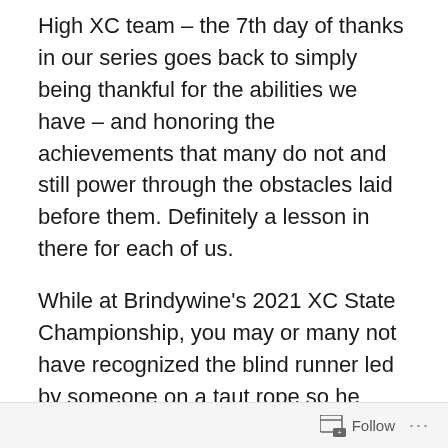High XC team – the 7th day of thanks in our series goes back to simply being thankful for the abilities we have – and honoring the achievements that many do not and still power through the obstacles laid before them. Definitely a lesson in there for each of us.
While at Brindywine's 2021 XC State Championship, you may or many not have recognized the blind runner led by someone on a taut rope so he could stay on the path. Amazing. "The Creek" in itself is a tough enough course, and watching this runner, robbed of sight and yet conquering such a demanding XC course defined XC in a single pass quite easily. What is so difficult in a season of XC is what happens outside of the season, and sometimes yes, during. Being thankful for everything
Follow ...